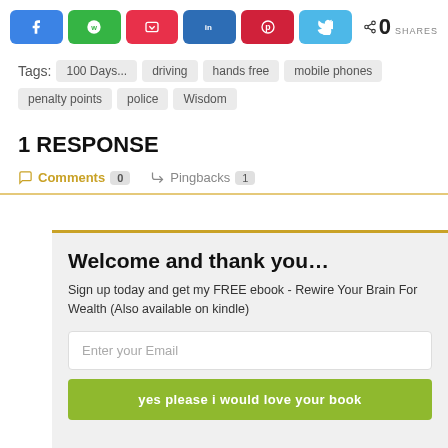[Figure (other): Social share buttons: Facebook, WhatsApp, Pocket, LinkedIn, Pinterest, Twitter, and a share count showing 0 SHARES]
Tags: 100 Days... driving hands free mobile phones penalty points police Wisdom
1 RESPONSE
Comments 0   Pingbacks 1
Welcome and thank you...
Sign up today and get my FREE ebook - Rewire Your Brain For Wealth (Also available on kindle)
Enter your Email
yes please i would love your book